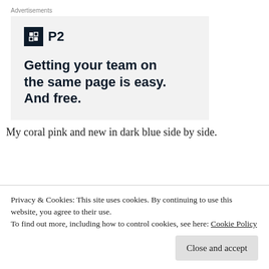Advertisements
[Figure (infographic): Advertisement for P2 product. Shows P2 logo (dark square icon with white grid mark and bold P2 text) and headline text: Getting your team on the same page is easy. And free.]
My coral pink and new in dark blue side by side.
Privacy & Cookies: This site uses cookies. By continuing to use this website, you agree to their use.
To find out more, including how to control cookies, see here: Cookie Policy
Close and accept